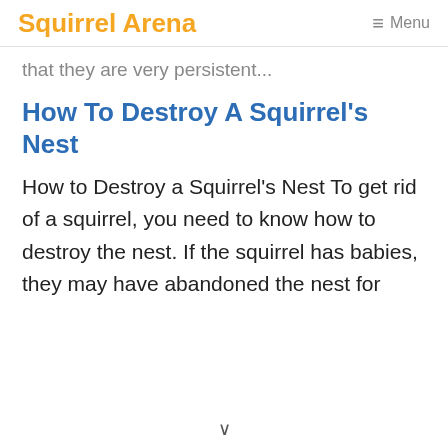Squirrel Arena  ☰ Menu
that they are very persistent...
How To Destroy A Squirrel's Nest
How to Destroy a Squirrel's Nest To get rid of a squirrel, you need to know how to destroy the nest. If the squirrel has babies, they may have abandoned the nest for